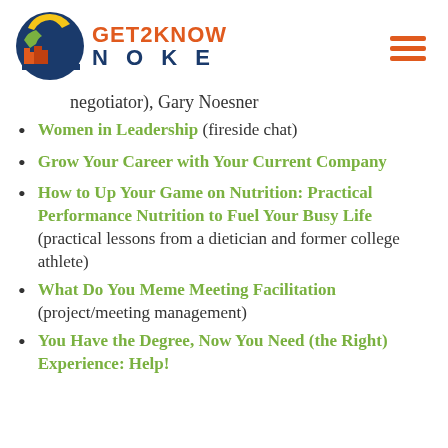[Figure (logo): Get2Know Noke logo with circular emblem and text]
negotiator), Gary Noesner
Women in Leadership (fireside chat)
Grow Your Career with Your Current Company
How to Up Your Game on Nutrition: Practical Performance Nutrition to Fuel Your Busy Life (practical lessons from a dietician and former college athlete)
What Do You Meme Meeting Facilitation (project/meeting management)
You Have the Degree, Now You Need (the Right) Experience: Help!